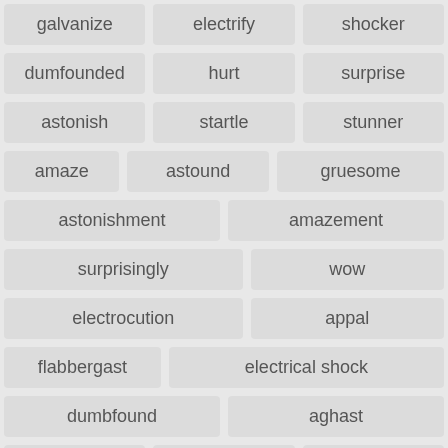galvanize
electrify
shocker
dumfounded
hurt
surprise
astonish
startle
stunner
amaze
astound
gruesome
astonishment
amazement
surprisingly
wow
electrocution
appal
flabbergast
electrical shock
dumbfound
aghast
macabre
trauma
ghastly
skittish
amazingly
frightful